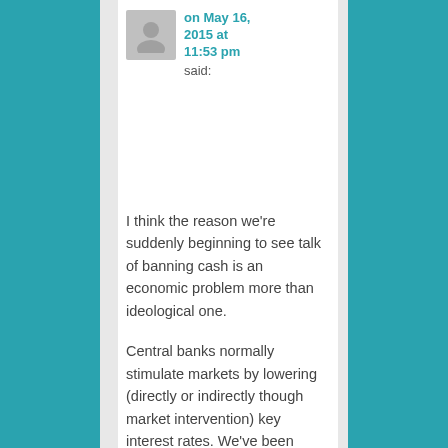on May 16, 2015 at 11:53 pm said:
I think the reason we're suddenly beginning to see talk of banning cash is an economic problem more than ideological one.

Central banks normally stimulate markets by lowering (directly or indirectly though market intervention) key interest rates. We've been sitting at about zero for a while and